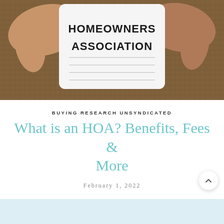[Figure (photo): Two hands holding a white notepad-style card with the text 'HOMEOWNERS ASSOCIATION' printed in block letters, against a burlap/hessian textured background.]
BUYING RESEARCH UNSYNDICATED
What is an HOA? Benefits, Fees & More
February 1, 2022